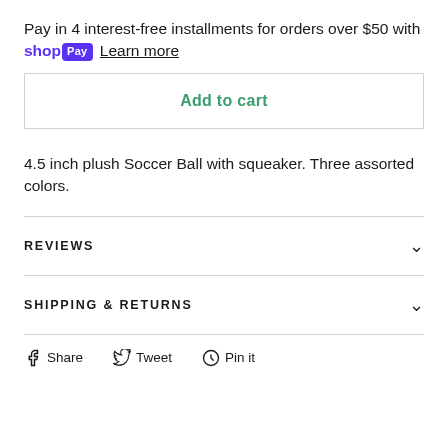Pay in 4 interest-free installments for orders over $50 with shop Pay Learn more
Add to cart
4.5 inch plush Soccer Ball with squeaker. Three assorted colors.
REVIEWS
SHIPPING & RETURNS
Share  Tweet  Pin it